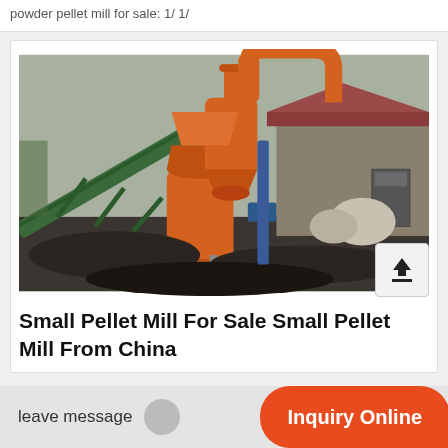powder pellet mill for sale: 1/ 1/
[Figure (photo): Orange industrial pellet mill / grinding mill machine with cyclone dust collector and conveyor belt in an outdoor industrial setting]
Small Pellet Mill For Sale Small Pellet Mill From China
leave message
Inquiry Online